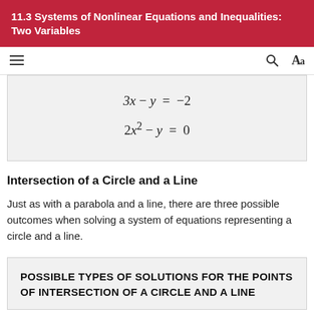11.3 Systems of Nonlinear Equations and Inequalities: Two Variables
Intersection of a Circle and a Line
Just as with a parabola and a line, there are three possible outcomes when solving a system of equations representing a circle and a line.
POSSIBLE TYPES OF SOLUTIONS FOR THE POINTS OF INTERSECTION OF A CIRCLE AND A LINE